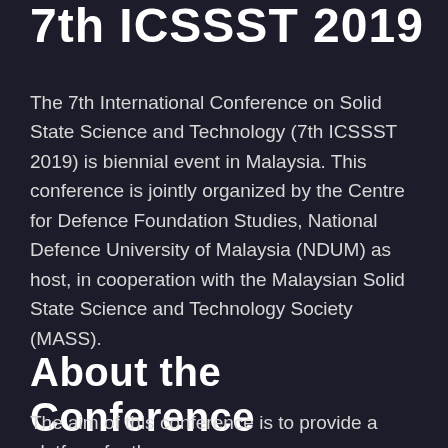7th ICSSST 2019
The 7th International Conference on Solid State Science and Technology (7th ICSSST 2019) is biennial event in Malaysia. This conference is jointly organized by the Centre for Defence Foundation Studies, National Defence University of Malaysia (NDUM) as host, in cooperation with the Malaysian Solid State Science and Technology Society (MASS).
About the Conference
The aim of this conference is to provide a platform for the